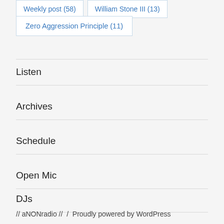Weekly post (58)
William Stone III (13)
Zero Aggression Principle (11)
Listen
Archives
Schedule
Open Mic
DJs
// aNONradio // / Proudly powered by WordPress